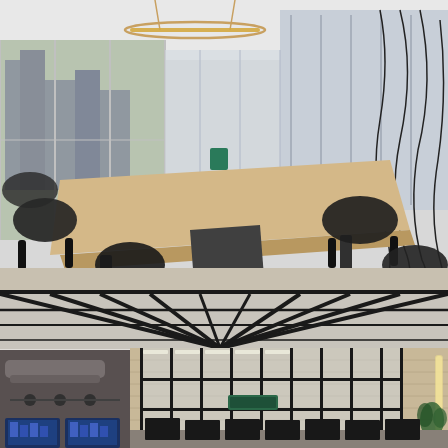[Figure (photo): Two office interior photographs stacked vertically. Top photo: a modern meeting room with a large light wood V-shaped or angular conference table, black chairs, circular pendant light fixture, glass walls, and city views through large windows. Bottom photo: an industrial-style open office or lobby with black steel-framed glass partitions, exposed brick walls with stone texture, black ceiling structure with skylights, monitor screens, and rows of desks.]